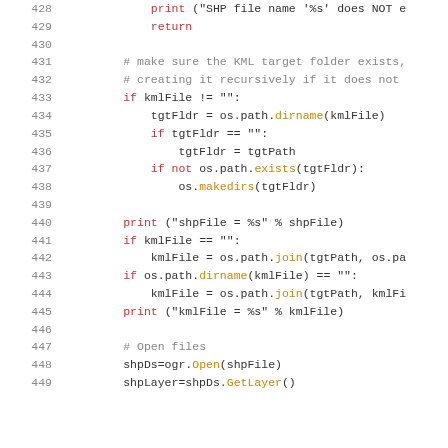[Figure (screenshot): Python source code snippet showing lines 428-449. Code includes print statements, return, file existence checks, os.path operations, and file opening with ogr and shpDs.]